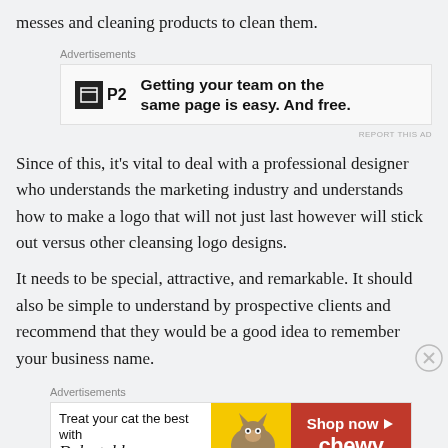messes and cleaning products to clean them.
[Figure (other): P2 advertisement: Getting your team on the same page is easy. And free.]
Since of this, it's vital to deal with a professional designer who understands the marketing industry and understands how to make a logo that will not just last however will stick out versus other cleansing logo designs.
It needs to be special, attractive, and remarkable. It should also be simple to understand by prospective clients and recommend that they would be a good idea to remember your business name.
[Figure (other): Chewy advertisement: Treat your cat the best with Delectables cat treats. Shop now.]